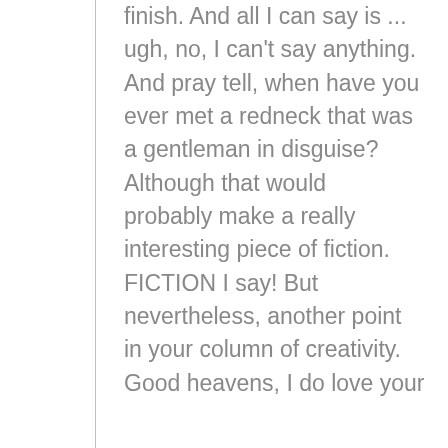finish. And all I can say is ... ugh, no, I can't say anything. And pray tell, when have you ever met a redneck that was a gentleman in disguise? Although that would probably make a really interesting piece of fiction. FICTION I say! But nevertheless, another point in your column of creativity. Good heavens, I do love your